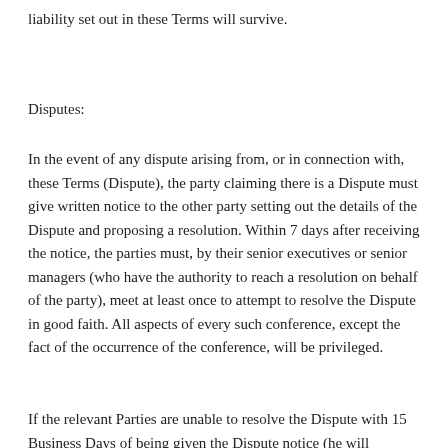liability set out in these Terms will survive.
Disputes:
In the event of any dispute arising from, or in connection with, these Terms (Dispute), the party claiming there is a Dispute must give written notice to the other party setting out the details of the Dispute and proposing a resolution. Within 7 days after receiving the notice, the parties must, by their senior executives or senior managers (who have the authority to reach a resolution on behalf of the party), meet at least once to attempt to resolve the Dispute in good faith. All aspects of every such conference, except the fact of the occurrence of the conference, will be privileged.
If the relevant Parties are unable to resolve the Dispute with 15 Business Days of being given the Dispute notice (the will